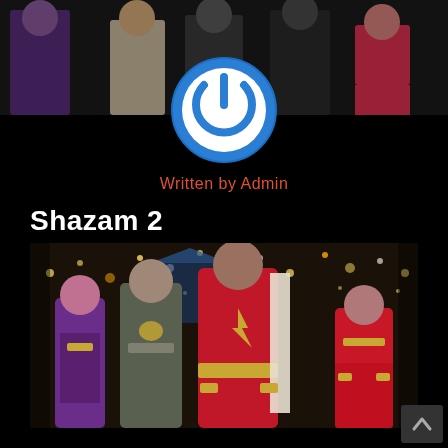[Figure (photo): Top banner showing superheroes in costumes standing in a row, partially cropped]
[Figure (logo): Circular power button icon with blue ring and white power symbol on transparent background]
Written by Admin
Shazam 2
[Figure (photo): Movie still from Shazam 2 showing four superheroes in costume standing in front of a sparkling festive background. Center figure wears red Shazam suit with gold belt and cape. Left figures wear purple and grey suits with gold accents. Right figure wears a red dress with gold accessories.]